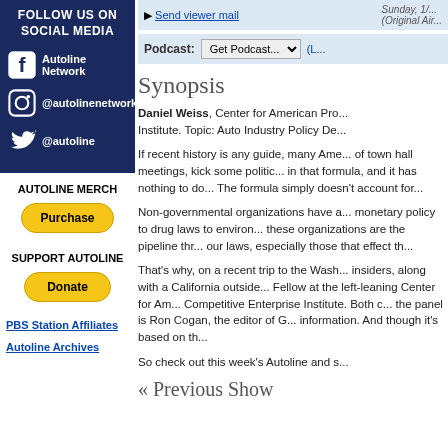FOLLOW US ON SOCIAL MEDIA
Autoline Network (Facebook)
@autolinenetwork (Instagram)
@autoline (Twitter)
AUTOLINE MERCH
Purchase
SUPPORT AUTOLINE
Donate
PBS Station Affiliates
Autoline Archives
Send viewer mail
Sunday, 1/... (Original Air...)
Podcast: Get Podcast...
Synopsis
Daniel Weiss, Center for American Pro... Institute. Topic: Auto Industry Policy De...
If recent history is any guide, many Ame... of town hall meetings, kick some politic... in that formula, and it has nothing to do... The formula simply doesn't account for...
Non-governmental organizations have a... monetary policy to drug laws to environ... these organizations are the pipeline thr... our laws, especially those that effect th...
That's why, on a recent trip to the Wash... insiders, along with a California outside... Fellow at the left-leaning Center for Am... Competitive Enterprise Institute. Both c... the panel is Ron Cogan, the editor of G... information. And though it's based on th...
So check out this week's Autoline and s...
« Previous Show